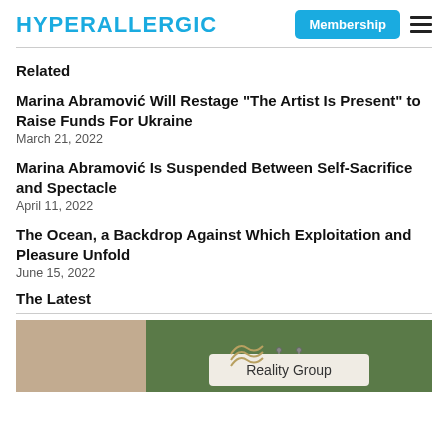HYPERALLERGIC
Related
Marina Abramović Will Restage “The Artist Is Present” to Raise Funds For Ukraine
March 21, 2022
Marina Abramović Is Suspended Between Self-Sacrifice and Spectacle
April 11, 2022
The Ocean, a Backdrop Against Which Exploitation and Pleasure Unfold
June 15, 2022
The Latest
[Figure (photo): Photo strip showing two images side by side: a beige/tan architectural wall on the left, and a lush green garden with a hanging white sign reading 'Reality Group' on the right.]